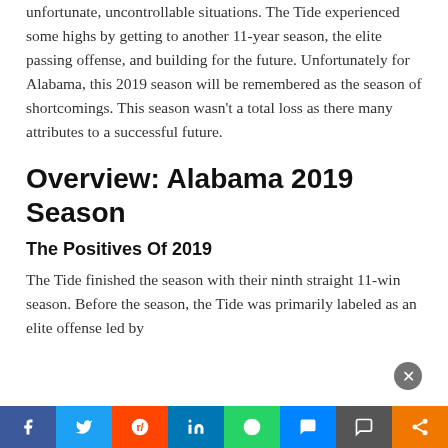unfortunate, uncontrollable situations. The Tide experienced some highs by getting to another 11-year season, the elite passing offense, and building for the future. Unfortunately for Alabama, this 2019 season will be remembered as the season of shortcomings. This season wasn't a total loss as there many attributes to a successful future.
Overview: Alabama 2019 Season
The Positives Of 2019
The Tide finished the season with their ninth straight 11-win season. Before the season, the Tide was primarily labeled as an elite offense led by Tua primarily and with various ...